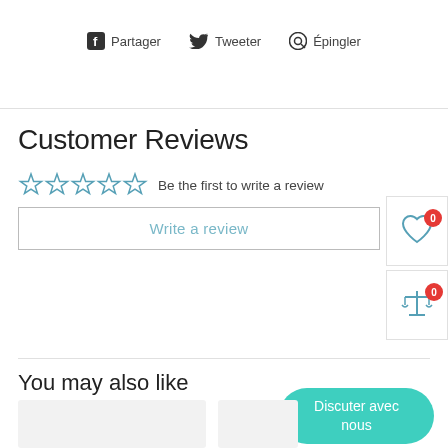[Figure (other): Social sharing bar with Facebook (Partager), Twitter (Tweeter), and Pinterest (Épingler) icons]
Customer Reviews
[Figure (other): Five empty star rating icons indicating no reviews yet, with text 'Be the first to write a review']
Write a review
You may also like
[Figure (other): Teal rounded chat button labeled 'Discuter avec nous']
[Figure (other): Two product thumbnail image placeholders (grey rectangles)]